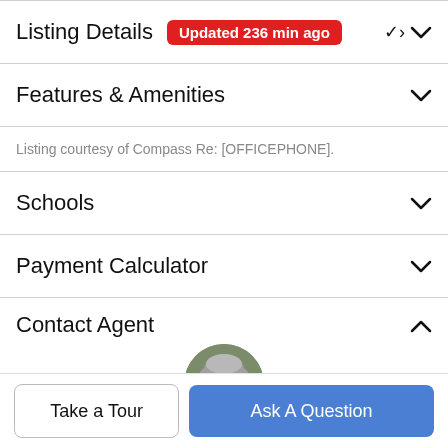Listing Details Updated 236 min ago
Features & Amenities
Listing courtesy of Compass Re: [OFFICEPHONE].
Schools
Payment Calculator
Contact Agent
[Figure (photo): Circular agent profile photo showing a woman with grey hair]
Take a Tour
Ask A Question